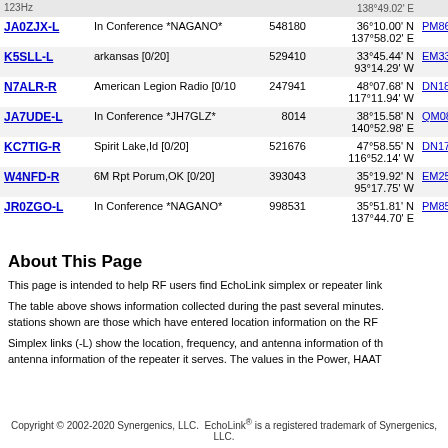| Callsign | Description | Node | Location | Grid |  |
| --- | --- | --- | --- | --- | --- |
| JA0ZJX-L | In Conference *NAGANO* | 548180 | 36°10.00' N 137°58.02' E | PM86xe | 5 |
| K5SLL-L | arkansas [0/20] | 529410 | 33°45.44' N 93°14.29' W | EM33js | 1 |
| N7ALR-R | American Legion Radio [0/10 | 247941 | 48°07.68' N 117°11.94' W | DN18jd | 1 |
| JA7UDE-L | In Conference *JH7GLZ* | 8014 | 38°15.58' N 140°52.98' E | QM08kg | 5 |
| KC7TIG-R | Spirit Lake,Id [0/20] | 521676 | 47°58.55' N 116°52.14' W | DN17nx | 1 |
| W4NFD-R | 6M Rpt Porum,OK [0/20] | 393043 | 35°19.92' N 95°17.75' W | EM25ih | 9 |
| JR0ZGO-L | In Conference *NAGANO* | 998531 | 35°51.81' N 137°44.70' E | PM85uu | 6 |
About This Page
This page is intended to help RF users find EchoLink simplex or repeater link
The table above shows information collected during the past several minutes. stations shown are those which have entered location information on the RF
Simplex links (-L) show the location, frequency, and antenna information of the antenna information of the repeater it serves. The values in the Power, HAAT
Copyright © 2002-2020 Synergenics, LLC. EchoLink® is a registered trademark of Synergenics, LLC.